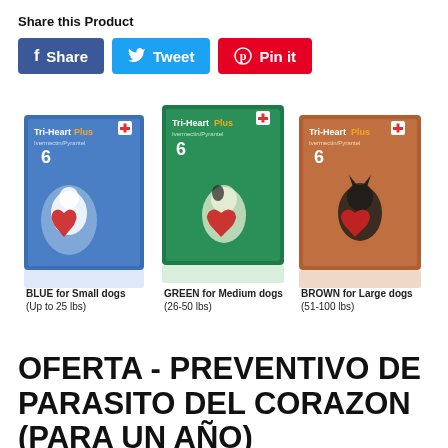Share this Product
[Figure (screenshot): Three social sharing buttons: Facebook Share (blue), Twitter Tweet (cyan), Pinterest Pin it (red)]
[Figure (photo): Three Tri-Heart Plus product boxes: BLUE for Small dogs (Up to 25 lbs), GREEN for Medium dogs (26-50 lbs), BROWN for Large dogs (51-100 lbs)]
OFERTA - PREVENTIVO DE PARASITO DEL CORAZON (PARA UN AÑO)